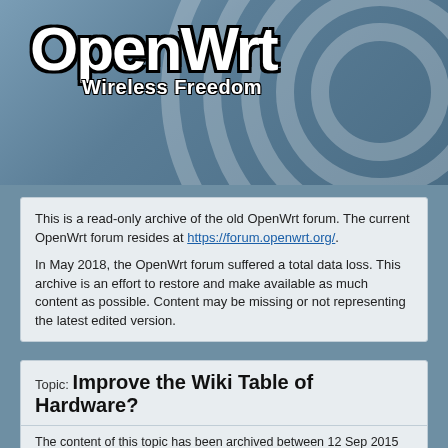[Figure (logo): OpenWrt logo with 'Wireless Freedom' tagline, white text with black outline on blue-grey gradient background with concentric circle pattern]
This is a read-only archive of the old OpenWrt forum. The current OpenWrt forum resides at https://forum.openwrt.org/.
In May 2018, the OpenWrt forum suffered a total data loss. This archive is an effort to restore and make available as much content as possible. Content may be missing or not representing the latest edited version.
Topic: Improve the Wiki Table of Hardware?
The content of this topic has been archived between 12 Sep 2015 and 6 May 2018. Unfortunately there are posts – most likely complete pages – missing.
Page 17 of 61   1  ...  15  16  17  18  19  ...  61
Post #401: tmo26 on 8 Jun 2015, 23:53
Looking good so far!
Some exceptions: